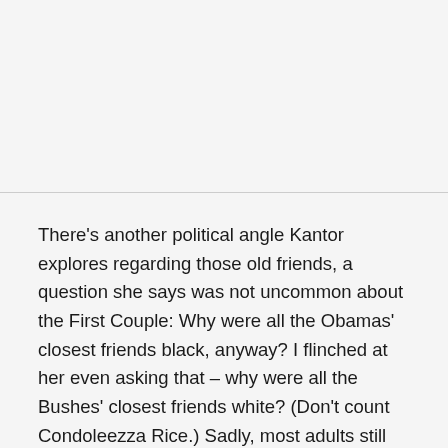There's another political angle Kantor explores regarding those old friends, a question she says was not uncommon about the First Couple: Why were all the Obamas' closest friends black, anyway? I flinched at her even asking that – why were all the Bushes' closest friends white? (Don't count Condoleezza Rice.) Sadly, most adults still live in worlds where their